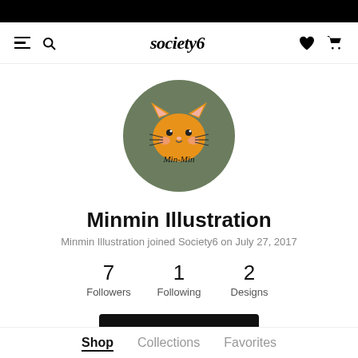society6
[Figure (logo): Circular profile avatar with olive/sage green background, orange cartoon cat face with whiskers and rosy cheeks, text 'Min-Min' below the cat face]
Minmin Illustration
Minmin Illustration joined Society6 on July 27, 2017
7 Followers  1 Following  2 Designs
Follow
Shop  Collections  Favorites